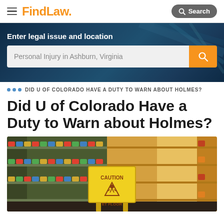FindLaw — Search
[Figure (screenshot): FindLaw website header with hamburger menu, FindLaw logo in orange, and Search button]
Enter legal issue and location
Personal Injury in Ashburn, Virginia
... DID U OF COLORADO HAVE A DUTY TO WARN ABOUT HOLMES?
Did U of Colorado Have a Duty to Warn about Holmes?
[Figure (photo): Grocery store aisle with yellow caution wet floor sign in the foreground, shelves with canned goods on left, warm sunlit aisle on right]